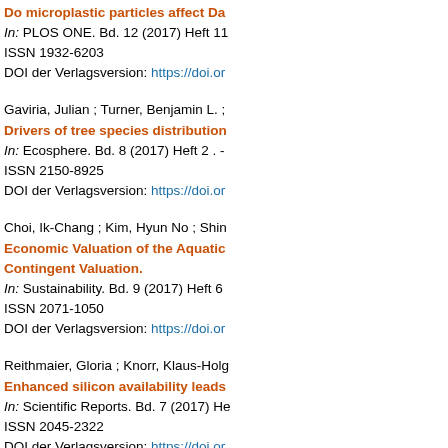Do microplastic particles affect Da...
In: PLOS ONE. Bd. 12 (2017) Heft 11
ISSN 1932-6203
DOI der Verlagsversion: https://doi.or...
Gaviria, Julian ; Turner, Benjamin L. ;
Drivers of tree species distribution...
In: Ecosphere. Bd. 8 (2017) Heft 2 . -
ISSN 2150-8925
DOI der Verlagsversion: https://doi.or...
Choi, Ik-Chang ; Kim, Hyun No ; Shin...
Economic Valuation of the Aquatic... Contingent Valuation.
In: Sustainability. Bd. 9 (2017) Heft 6
ISSN 2071-1050
DOI der Verlagsversion: https://doi.or...
Reithmaier, Gloria ; Knorr, Klaus-Holg...
Enhanced silicon availability leads...
In: Scientific Reports. Bd. 7 (2017) He...
ISSN 2045-2322
DOI der Verlagsversion: https://doi.or...
Jeong, Gwan Yong ; Choi, Kwanghur...
Environmental drivers of spatial pa... of South Korea.
In: PLOS ONE. Bd. 12 (2017) Heft 8